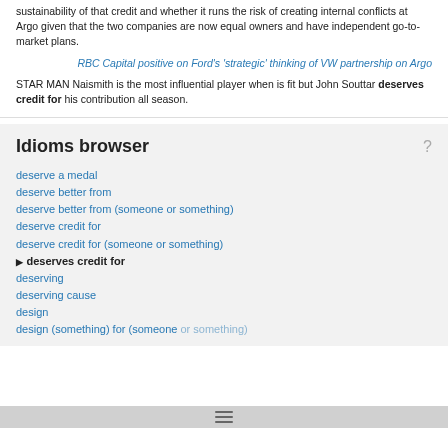sustainability of that credit and whether it runs the risk of creating internal conflicts at Argo given that the two companies are now equal owners and have independent go-to-market plans.
RBC Capital positive on Ford's 'strategic' thinking of VW partnership on Argo
STAR MAN Naismith is the most influential player when is fit but John Souttar deserves credit for his contribution all season.
Idioms browser
deserve a medal
deserve better from
deserve better from (someone or something)
deserve credit for
deserve credit for (someone or something)
deserves credit for
deserving
deserving cause
design
design (something) for (someone or something)